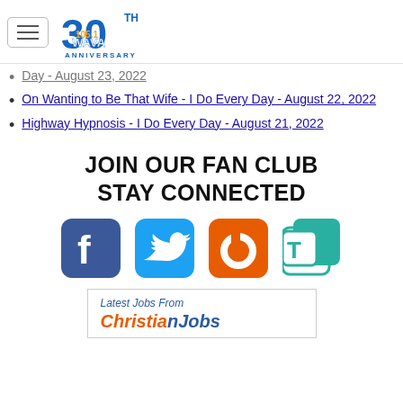[Figure (logo): WAVA 105.1 FM 30th Anniversary logo with hamburger menu icon]
Day - August 23, 2022
On Wanting to Be That Wife - I Do Every Day - August 22, 2022
Highway Hypnosis - I Do Every Day - August 21, 2022
JOIN OUR FAN CLUB
STAY CONNECTED
[Figure (infographic): Social media icons: Facebook (blue), Twitter (blue), Artlist/brand (orange), TalkTalk or similar (teal)]
Latest Jobs From
ChristianJobs (partially visible)